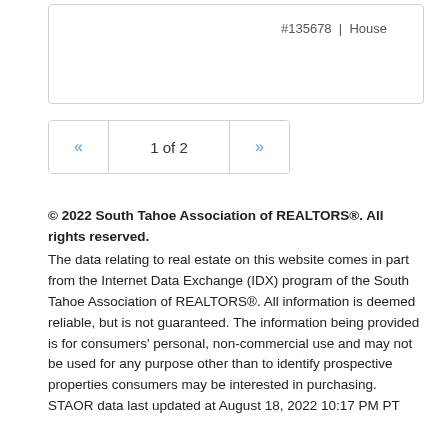#135678 | House
« 1 of 2 »
© 2022 South Tahoe Association of REALTORS®. All rights reserved.
The data relating to real estate on this website comes in part from the Internet Data Exchange (IDX) program of the South Tahoe Association of REALTORS®. All information is deemed reliable, but is not guaranteed. The information being provided is for consumers' personal, non-commercial use and may not be used for any purpose other than to identify prospective properties consumers may be interested in purchasing.
STAOR data last updated at August 18, 2022 10:17 PM PT